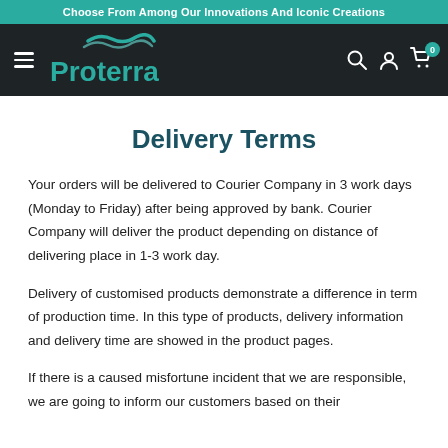Choose From Among Our Innovations And Iconic Creations
[Figure (logo): Proterra logo with teal wave above stylized text on dark background, with hamburger menu, search, account, and cart icons]
Delivery Terms
Your orders will be delivered to Courier Company in 3 work days (Monday to Friday) after being approved by bank. Courier Company will deliver the product depending on distance of delivering place in 1-3 work day.
Delivery of customised products demonstrate a difference in term of production time. In this type of products, delivery information and delivery time are showed in the product pages.
If there is a caused misfortune incident that we are responsible, we are going to inform our customers based on their acknowledged information. The refund is as entitled to...